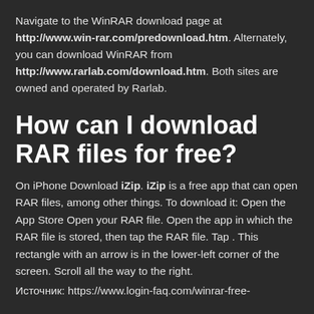Navigate to the WinRAR download page at http://www.win-rar.com/predownload.htm. Alternately, you can download WinRAR from http://www.rarlab.com/download.htm. Both sites are owned and operated by Rarlab.
How can I download RAR files for free?
On iPhone Download iZip. iZip is a free app that can open RAR files, among other things. To download it: Open the App Store Open your RAR file. Open the app in which the RAR file is stored, then tap the RAR file. Tap . This rectangle with an arrow is in the lower-left corner of the screen. Scroll all the way to the right.
Источник: https://www.login-faq.com/winrar-free-